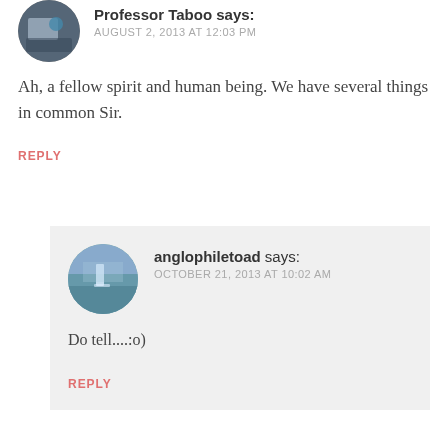Professor Taboo says: AUGUST 2, 2013 AT 12:03 PM
Ah, a fellow spirit and human being. We have several things in common Sir.
REPLY
anglophiletoad says: OCTOBER 21, 2013 AT 10:02 AM
Do tell....:o)
REPLY
Erik Andrulis says: JULY 1, 2013 AT 12:43 PM
“Call it a philosophical altercation with myself.” Interesting perspective. And the correct one.